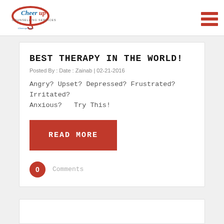Cheerup Counselling Services — cheerupcs.com
BEST THERAPY IN THE WORLD!
Posted By : Date : Zainab | 02-21-2016
Angry? Upset? Depressed? Frustrated? Irritated? Anxious?  Try This!
READ MORE
0 Comments